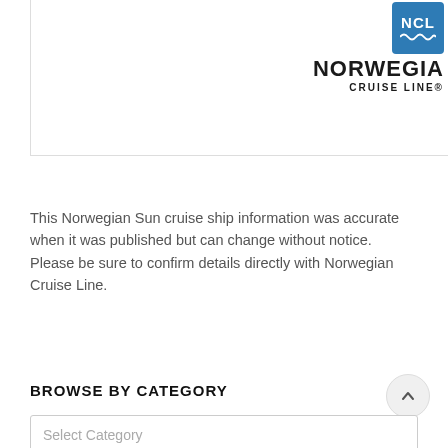[Figure (logo): Norwegian Cruise Line logo with NCL badge in blue and 'NORWEGIAN CRUISE LINE®' text in black]
This Norwegian Sun cruise ship information was accurate when it was published but can change without notice. Please be sure to confirm details directly with Norwegian Cruise Line.
BROWSE BY CATEGORY
Select Category